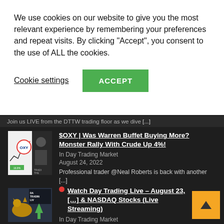We use cookies on our website to give you the most relevant experience by remembering your preferences and repeat visits. By clicking “Accept”, you consent to the use of ALL the cookies.
Cookie settings
ACCEPT
Join us LIVE from the DTTW trading floor as we dive [...]
[Figure (screenshot): Thumbnail image for $OXY article showing OXY logo with trading chart and a person]
$OXY | Was Warren Buffet Buying More? Monster Rally With Crude Up 4%!
In Day Trading Market
August 24, 2022
Professional trader @Neal Roberts is back with another [...]
[Figure (screenshot): Thumbnail image for Watch Day Trading Live article showing bull statue and trading overlay]
Watch Day Trading Live – August 23, [..] & NASDAQ Stocks (Live Streaming)
In Day Trading Market